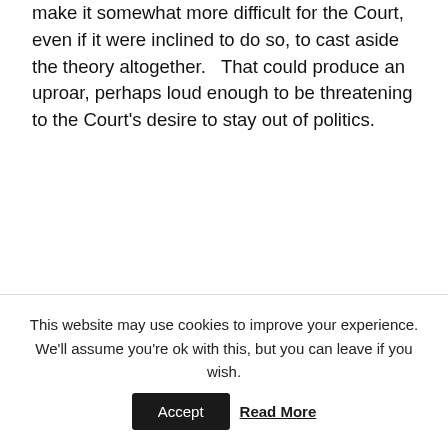make it somewhat more difficult for the Court, even if it were inclined to do so, to cast aside the theory altogether.   That could produce an uproar, perhaps loud enough to be threatening to the Court's desire to stay out of politics.
This website may use cookies to improve your experience. We'll assume you're ok with this, but you can leave if you wish.